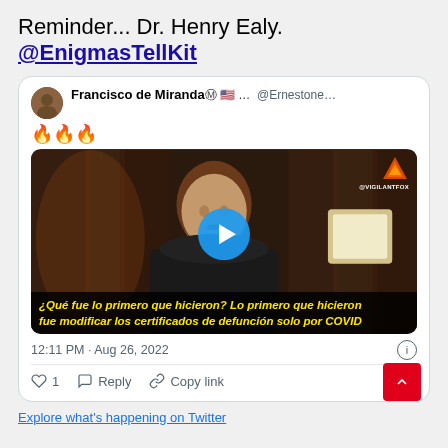Reminder... Dr. Henry Ealy. @EnigmasTellKit
[Figure (screenshot): Embedded tweet card from Francisco de Miranda with fire emojis, video thumbnail of a man with long hair being interviewed, play button overlay, @VigilantFox watermark, and Spanish subtitle text about COVID death certificates. Timestamp: 12:11 PM · Aug 26, 2022. Actions: 1 like, Reply, Copy link.]